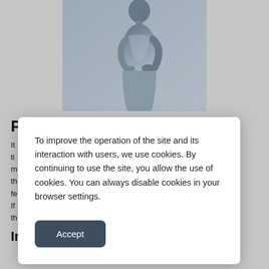[Figure (photo): A person (woman) shown from behind/side, wearing a white top, with hands on lower back suggesting back pain, in a blue-tinted monochrome style]
P
It ... O ti ... m ... th ... fe ... ul. If ... s, th ...
To improve the operation of the site and its interaction with users, we use cookies. By continuing to use the site, you allow the use of cookies. You can always disable cookies in your browser settings.
Inflammation